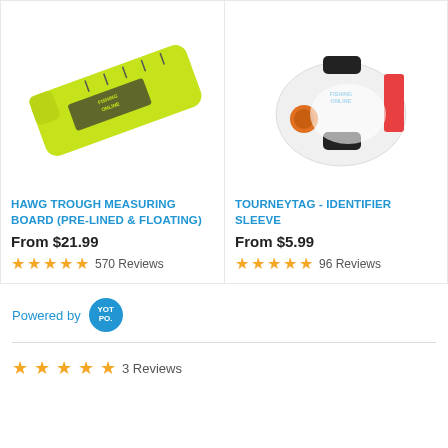[Figure (photo): Yellow-green Hawg Trough Measuring Board with Fishing Online branding, angled view]
[Figure (photo): White TourneyTag Identifier Sleeve with black straps and red accent, Fishing Online branding]
HAWG TROUGH MEASURING BOARD (PRE-LINED & FLOATING)
From $21.99
570 Reviews
TOURNEYTAG - IDENTIFIER SLEEVE
From $5.99
96 Reviews
Powered by YOTPO.
3 Reviews